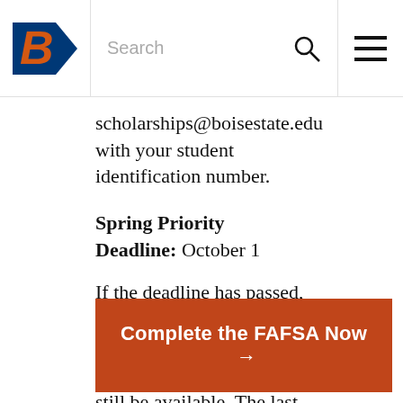Boise State University navigation bar with logo, search, and menu
scholarships@boisestate.edu with your student identification number.
Spring Priority Deadline: October 1
If the deadline has passed, we still encourage you to complete the application as some financial aid may still be available. The last day a FAFSA can be submitted is June 30
Complete the FAFSA Now →